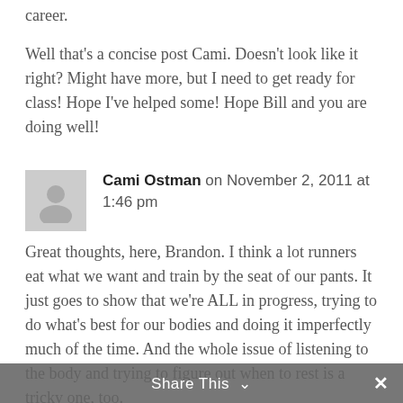career.
Well that's a concise post Cami. Doesn't look like it right? Might have more, but I need to get ready for class! Hope I've helped some! Hope Bill and you are doing well!
Cami Ostman on November 2, 2011 at 1:46 pm
Great thoughts, here, Brandon. I think a lot runners eat what we want and train by the seat of our pants. It just goes to show that we're ALL in progress, trying to do what's best for our bodies and doing it imperfectly much of the time. And the whole issue of listening to the body and trying to figure out when to rest is a tricky one, too.
You bring up an importan issue here for
Share This ∨